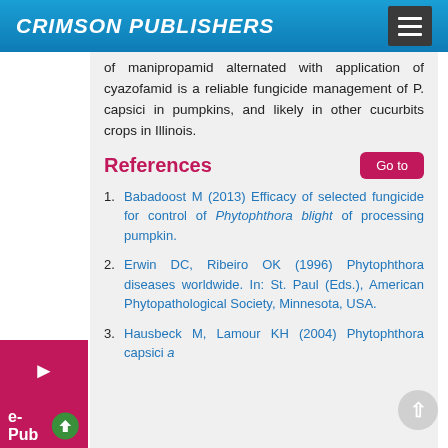CRIMSON PUBLISHERS
of manipropamid alternated with application of cyazofamid is a reliable fungicide management of P. capsici in pumpkins, and likely in other cucurbits crops in Illinois.
References
1. Babadoost M (2013) Efficacy of selected fungicide for control of Phytophthora blight of processing pumpkin.
2. Erwin DC, Ribeiro OK (1996) Phytophthora diseases worldwide. In: St. Paul (Eds.), American Phytopathological Society, Minnesota, USA.
3. Hausbeck M, Lamour KH (2004) Phytophthora capsici...